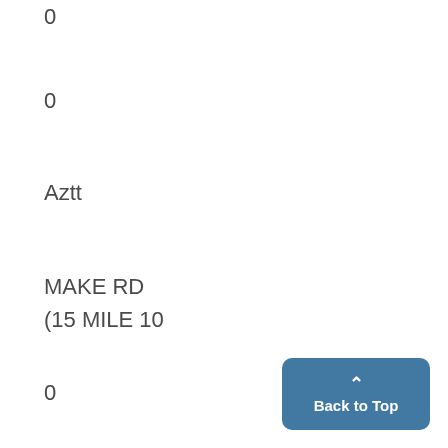0
0
Aztt
MAKE RD
(15 MILE 10
0
111
OPEN SUN. 1-5